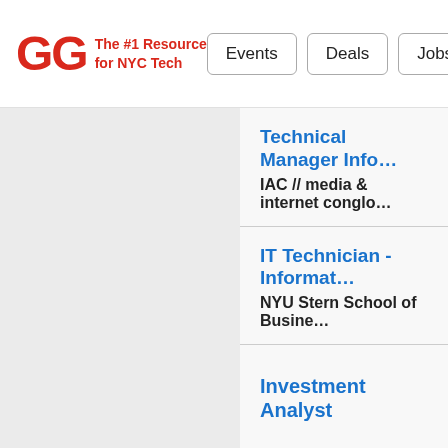GG The #1 Resource for NYC Tech | Events | Deals | Jobs
Technical Manager Info... — IAC // media & internet conglo...
IT Technician - Informat... — NYU Stern School of Busine...
IT Technician - Informat... — NYU Stern School of Busine...
Associate Director, End... — NYU Stern School of Busine...
Investment Analyst